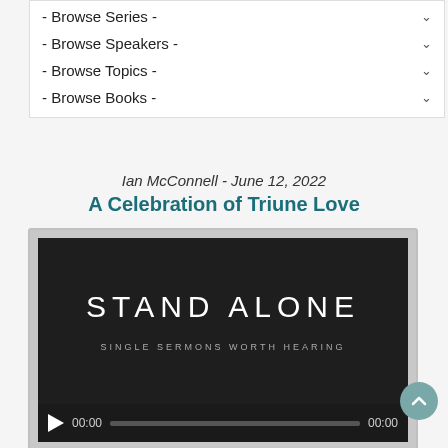- Browse Series -
- Browse Speakers -
- Browse Topics -
- Browse Books -
Ian McConnell - June 12, 2022
A Celebration of Triune Love
[Figure (screenshot): Video player showing 'STAND ALONE - SINGLE SERMONS WORTH HEARING' thumbnail with audio controls bar showing play button, 00:00 timestamp, progress bar, and 00:00 end time.]